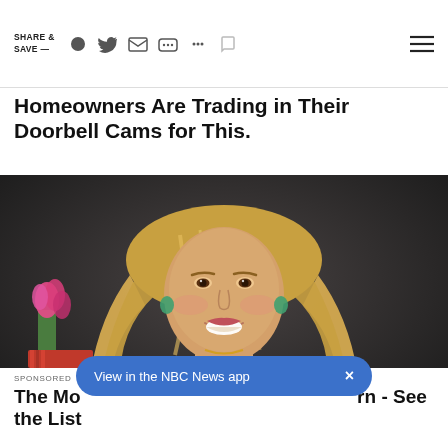SHARE & SAVE —  [social icons]  [menu]
Homeowners Are Trading in Their Doorbell Cams for This.
[Figure (photo): Professional photo of a blonde female judge in black robes, smiling, with pink flowers and law books in background]
TAP TO UNMUTE
SPONSORED
View in the NBC News app  ×
The Most Dangerous Dog Breeds to Own - See the List